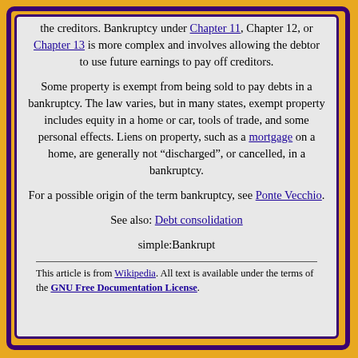the creditors. Bankruptcy under Chapter 11, Chapter 12, or Chapter 13 is more complex and involves allowing the debtor to use future earnings to pay off creditors.
Some property is exempt from being sold to pay debts in a bankruptcy. The law varies, but in many states, exempt property includes equity in a home or car, tools of trade, and some personal effects. Liens on property, such as a mortgage on a home, are generally not "discharged", or cancelled, in a bankruptcy.
For a possible origin of the term bankruptcy, see Ponte Vecchio.
See also: Debt consolidation
simple:Bankrupt
This article is from Wikipedia. All text is available under the terms of the GNU Free Documentation License.